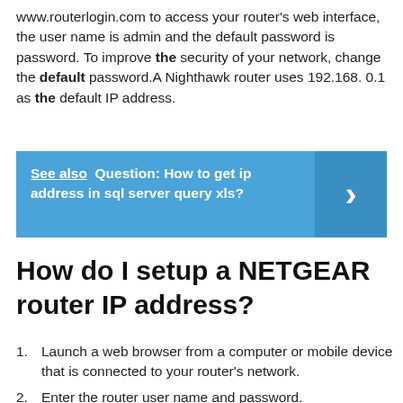www.routerlogin.com to access your router's web interface, the user name is admin and the default password is password. To improve the security of your network, change the default password.A Nighthawk router uses 192.168. 0.1 as the default IP address.
[Figure (infographic): Blue banner with 'See also  Question: How to get ip address in sql server query xls?' and a right-arrow chevron on the right side in a darker blue panel.]
How do I setup a NETGEAR router IP address?
Launch a web browser from a computer or mobile device that is connected to your router's network.
Enter the router user name and password.
Select ADVANCED > Setup > LAN Setup.